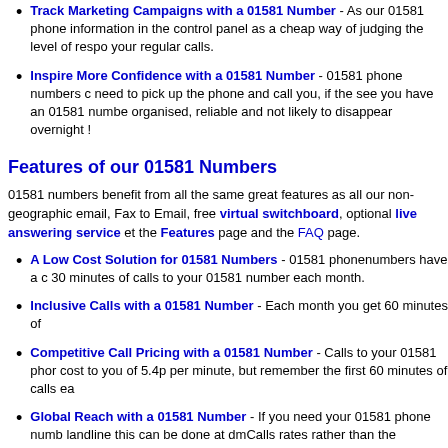Track Marketing Campaigns with a 01581 Number - As our 01581 phone information in the control panel as a cheap way of judging the level of respo your regular calls.
Inspire More Confidence with a 01581 Number - 01581 phone numbers c need to pick up the phone and call you, if the see you have an 01581 numbe organised, reliable and not likely to disappear overnight !
Features of our 01581 Numbers
01581 numbers benefit from all the same great features as all our non-geographic email, Fax to Email, free virtual switchboard, optional live answering service et the Features page and the FAQ page.
A Low Cost Solution for 01581 Numbers - 01581 phonenumbers have a c 30 minutes of calls to your 01581 number each month.
Inclusive Calls with a 01581 Number - Each month you get 60 minutes of
Competitive Call Pricing with a 01581 Number - Calls to your 01581 phor cost to you of 5.4p per minute, but remember the first 60 minutes of calls ea
Global Reach with a 01581 Number - If you need your 01581 phone numb landline this can be done at dmCalls rates rather than the standard 5.4p per
dmCalls with a 01581 Number - dmCalls is an add-on service that allows y you need to forward your calls to a phone other than a UK landline phone. d use to make calls to any phone or mobile anywhere in the UK or worldwide. by using dmCalls as an alternative to your regular landline or mobile service